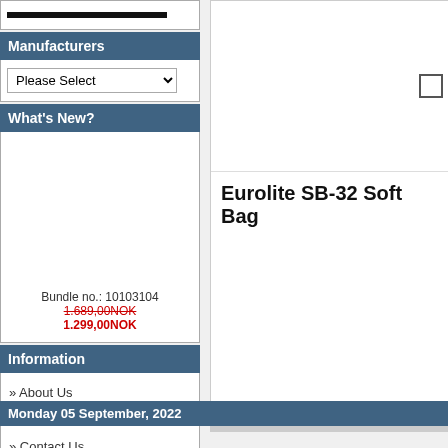Manufacturers
Please Select
What's New?
Bundle no.: 10103104
1.689,00NOK
1.299,00NOK
Information
» About Us
» Conditions
» Contact Us
[Figure (photo): Product image area for Eurolite SB-32 Soft Bag]
Eurolite SB-32 Soft Bag
Monday 05 September, 2022